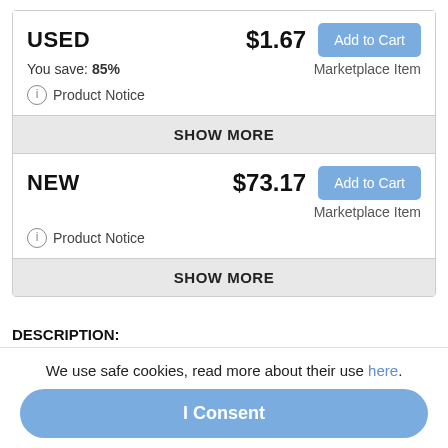USED  $1.67  Add to Cart
You save: 85%  Marketplace Item
Product Notice
SHOW MORE
NEW  $73.17  Add to Cart
Marketplace Item
Product Notice
SHOW MORE
DESCRIPTION:
A treasury of plain-spoken advice that real sons, young and old, recall from their fathers, this universally appealing keepsake captures a father's uncanny knack for seeing ahead and sets down simple, powerful verities that have
We use safe cookies, read more about their use here.
I Consent